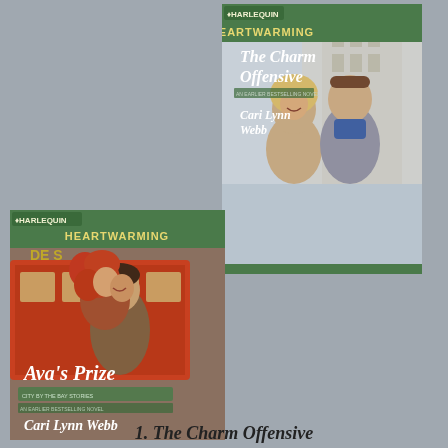[Figure (photo): Book cover for 'The Charm Offensive' by Cari Lynn Webb, Harlequin Heartwarming series. Shows a smiling couple outdoors in a city setting. The woman has blonde hair and the man has dark hair and wears a blue scarf.]
[Figure (photo): Book cover for 'Ava's Prize' by Cari Lynn Webb, Harlequin Heartwarming series. Shows a couple in front of a San Francisco streetcar. The woman has red curly hair and the man carries her on his back.]
1. The Charm Offensive